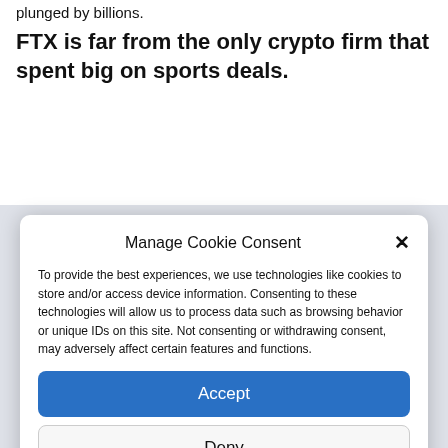plunged by billions.
FTX is far from the only crypto firm that spent big on sports deals.
Manage Cookie Consent
To provide the best experiences, we use technologies like cookies to store and/or access device information. Consenting to these technologies will allow us to process data such as browsing behavior or unique IDs on this site. Not consenting or withdrawing consent, may adversely affect certain features and functions.
Accept
Deny
View preferences